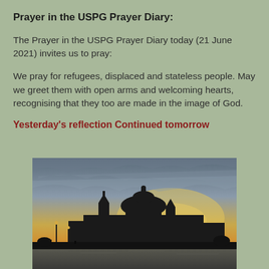Prayer in the USPG Prayer Diary:
The Prayer in the USPG Prayer Diary today (21 June 2021) invites us to pray:
We pray for refugees, displaced and stateless people. May we greet them with open arms and welcoming hearts, recognising that they too are made in the image of God.
Yesterday's reflection
Continued tomorrow
[Figure (photo): Silhouette of a large domed cathedral (likely Santa Maria della Salute, Venice) at sunset/dusk with dramatic cloudy sky in shades of orange and grey, waterfront in foreground with lamp posts and figures.]